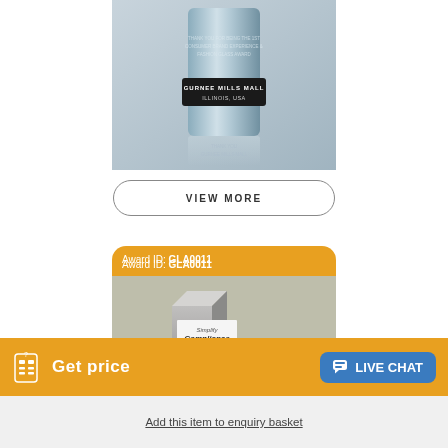[Figure (photo): Product award trophy with black band label reading GURNEE MILLS MALL, ILLINOIS, USA on a reflective glass-like cylindrical trophy]
VIEW MORE
Award ID: GLA0011
[Figure (photo): Photo of a square/cube shaped award trophy with Simplify Compliance branding text on white panel, sitting on a desk or surface with blurred background]
Get price
Add this item to enquiry basket